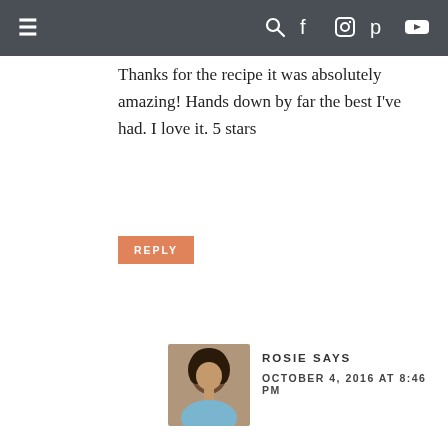≡  🔍 f 📷 p ▶
Thanks for the recipe it was absolutely amazing! Hands down by far the best I've had. I love it. 5 stars
REPLY
ROSIE SAYS
OCTOBER 4, 2016 AT 8:46 PM
Thanks for trying my recipe sweetie!
REPLY
WHITNEY WALLACE SAYS
NOVEMBER 25, 2018 AT 3:54